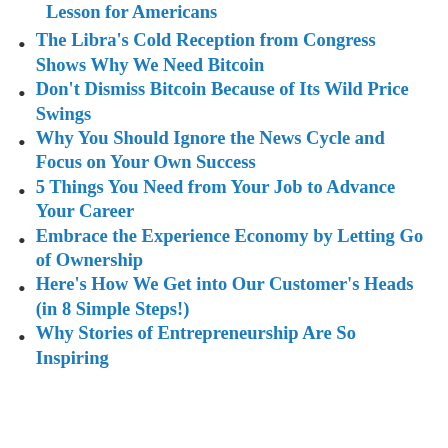Lesson for Americans
The Libra's Cold Reception from Congress Shows Why We Need Bitcoin
Don't Dismiss Bitcoin Because of Its Wild Price Swings
Why You Should Ignore the News Cycle and Focus on Your Own Success
5 Things You Need from Your Job to Advance Your Career
Embrace the Experience Economy by Letting Go of Ownership
Here's How We Get into Our Customer's Heads (in 8 Simple Steps!)
Why Stories of Entrepreneurship Are So Inspiring